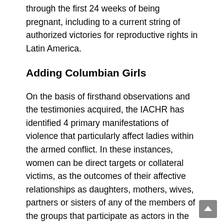through the first 24 weeks of being pregnant, including to a current string of authorized victories for reproductive rights in Latin America.
Adding Columbian Girls
On the basis of firsthand observations and the testimonies acquired, the IACHR has identified 4 primary manifestations of violence that particularly affect ladies within the armed conflict. In these instances, women can be direct targets or collateral victims, as the outcomes of their affective relationships as daughters, mothers, wives, partners or sisters of any of the members of the groups that participate as actors in the battle. Second, the violence destined to cause the compelled displacement of women from their territory and the resultant removing from their properties, every day lives, neighborhood and family.
Women looking for abortions in Colombia have to deal for this document...